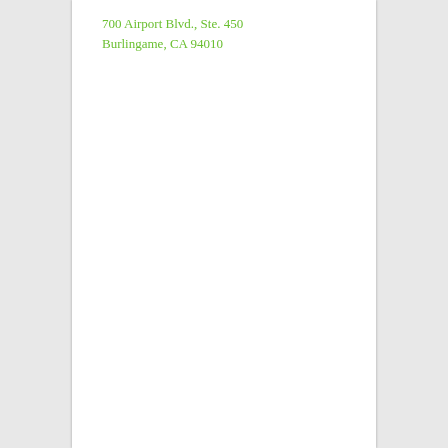700 Airport Blvd., Ste. 450
Burlingame, CA 94010